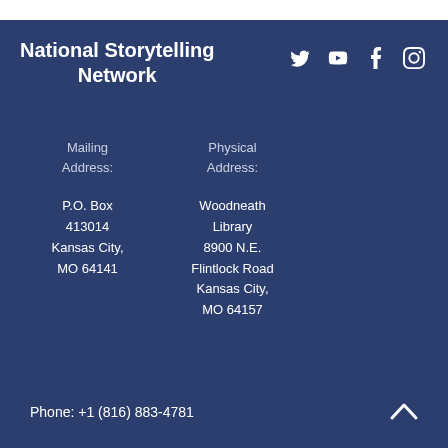National Storytelling Network
Mailing Address:

P.O. Box 413014
Kansas City, MO 64141
Physical Address:

Woodneath Library
8900 N.E. Flintlock Road
Kansas City, MO 64157
Phone: +1 (816) 883-4781